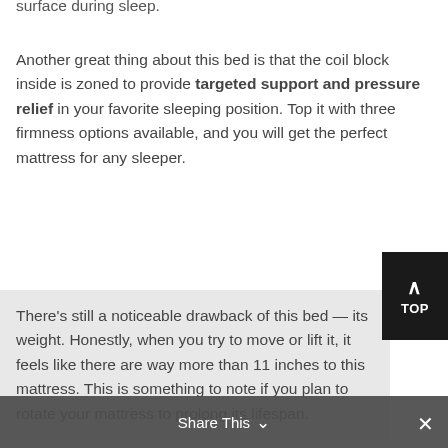surface during sleep.
Another great thing about this bed is that the coil block inside is zoned to provide targeted support and pressure relief in your favorite sleeping position. Top it with three firmness options available, and you will get the perfect mattress for any sleeper.
There's still a noticeable drawback of this bed — its weight. Honestly, when you try to move or lift it, it feels like there are way more than 11 inches to this mattress. This is something to note if you plan to rotate your mattress to prolong its lifespan.
However, great value for money beats all the inconveniences. This mattress is made from high-grade materials and has a thoughtful design that can satisfy even the most
Share This